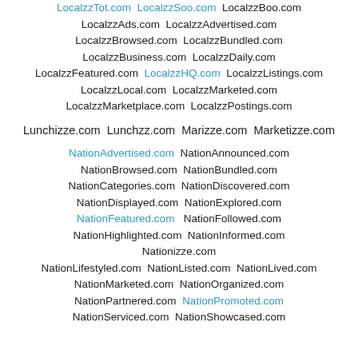LocalzzTot.com LocalzzSoo.com LocalzzBoo.com LocalzzAds.com LocalzzAdvertised.com LocalzzBrowsed.com LocalzzBundled.com LocalzzBusiness.com LocalzzDaily.com LocalzzFeatured.com LocalzzHQ.com LocalzzListings.com LocalzzLocal.com LocalzzMarketed.com LocalzzMarketplace.com LocalzzPostings.com
Lunchizze.com Lunchzz.com Marizze.com Marketizze.com
NationAdvertised.com NationAnnounced.com NationBrowsed.com NationBundled.com NationCategories.com NationDiscovered.com NationDisplayed.com NationExplored.com NationFeatured.com NationFollowed.com NationHighlighted.com NationInformed.com Nationizze.com NationLifestyled.com NationListed.com NationLived.com NationMarketed.com NationOrganized.com NationPartnered.com NationPromoted.com NationServiced.com NationShowcased.com